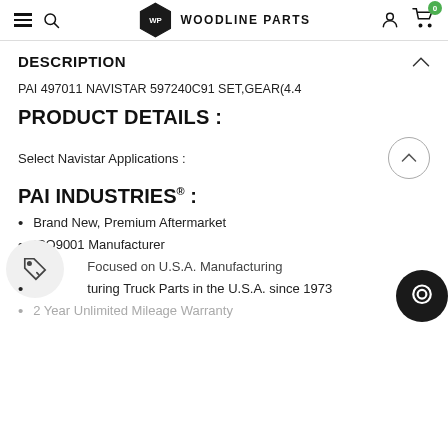WP WOODLINE PARTS
DESCRIPTION
PAI 497011 NAVISTAR 597240C91 SET,GEAR(4.4
PRODUCT DETAILS :
Select Navistar Applications :
PAI INDUSTRIES® :
Brand New, Premium Aftermarket
ISO9001 Manufacturer
Focused on U.S.A. Manufacturing
Manufacturing Truck Parts in the U.S.A. since 1973
2 Year Unlimited Mileage Warranty